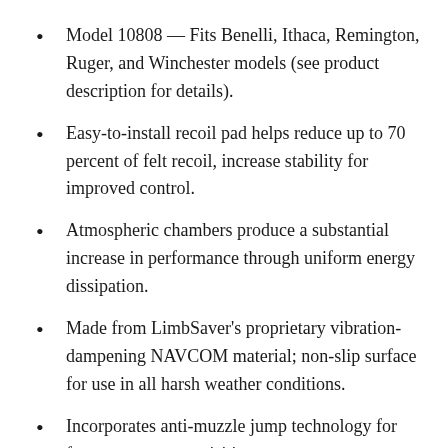Model 10808 — Fits Benelli, Ithaca, Remington, Ruger, and Winchester models (see product description for details).
Easy-to-install recoil pad helps reduce up to 70 percent of felt recoil, increase stability for improved control.
Atmospheric chambers produce a substantial increase in performance through uniform energy dissipation.
Made from LimbSaver's proprietary vibration-dampening NAVCOM material; non-slip surface for use in all harsh weather conditions.
Incorporates anti-muzzle jump technology for faster target re-acquisition